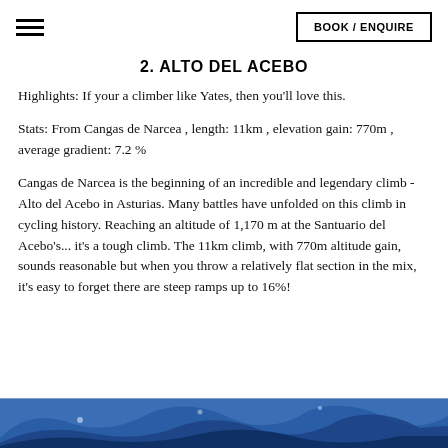BOOK / ENQUIRE
2. ALTO DEL ACEBO
Highlights: If your a climber like Yates, then you'll love this.
Stats: From Cangas de Narcea , length: 11km , elevation gain: 770m , average gradient: 7.2 %
Cangas de Narcea is the beginning of an incredible and legendary climb - Alto del Acebo in Asturias. Many battles have unfolded on this climb in cycling history. Reaching an altitude of 1,170 m at the Santuario del Acebo's... it's a tough climb. The 11km climb, with 770m altitude gain, sounds reasonable but when you throw a relatively flat section in the mix, it's easy to forget there are steep ramps up to 16%!
[Figure (photo): Blue mountain/cycling image strip at the bottom of the page]